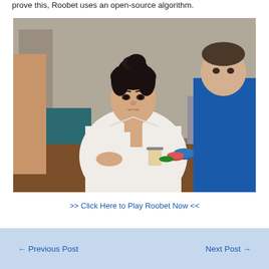prove this, Roobet uses an open-source algorithm.
[Figure (photo): Woman in white shirt sitting at a poker/card table with casino chips, resting her chin on her hand, looking thoughtful. A man in a blue sweater is visible to her right.]
>> Click Here to Play Roobet Now <<
← Previous Post    Next Post →